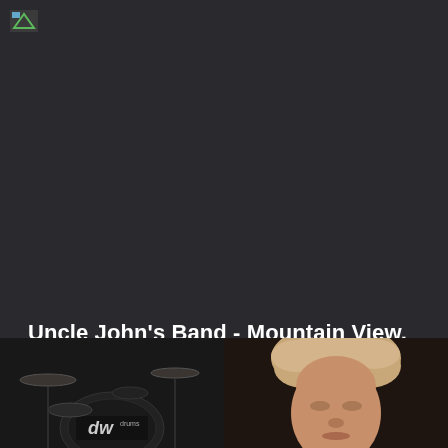[Figure (logo): Small logo icon in top left corner, appears to be a broken/loading image placeholder with green and blue colors]
Uncle John's Band - Mountain View, CA 1995
Jimmy performs Uncle John's Band live in Mountain View, CA on October 6, 1995
WATCH NOW
[Figure (photo): Concert thumbnail showing two frames side by side: left frame shows a drum kit with DW drums logo on a dark stage; right frame shows a close-up of a performer with curly/wavy light hair]